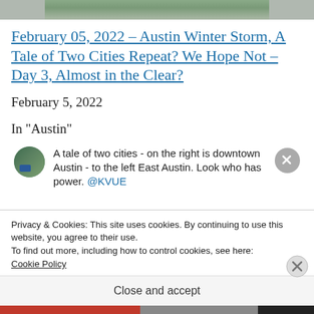[Figure (photo): Partial image strip at top of page showing outdoor scene]
February 05, 2022 – Austin Winter Storm, A Tale of Two Cities Repeat? We Hope Not – Day 3, Almost in the Clear?
February 5, 2022
In "Austin"
[Figure (screenshot): Tweet embed with avatar showing text: A tale of two cities - on the right is downtown Austin - to the left East Austin. Look who has power. @KVUE]
Privacy & Cookies: This site uses cookies. By continuing to use this website, you agree to their use.
To find out more, including how to control cookies, see here: Cookie Policy
Close and accept